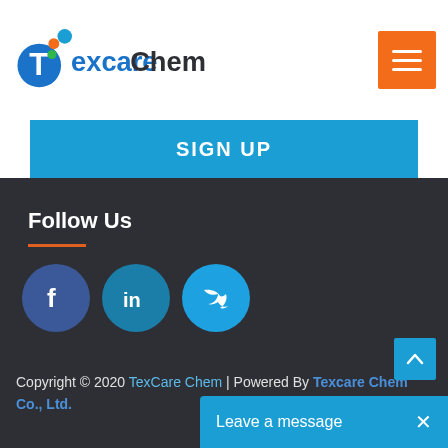[Figure (logo): Texcare Chem logo with colorful dots and stylized T letter]
[Figure (other): Orange hamburger menu button with three white horizontal lines]
SIGN UP
Follow Us
[Figure (other): Three social media icon circles: Facebook (dark blue), LinkedIn (medium blue), Twitter (light blue)]
Copyright © 2020 TexCare Chem | Powered By Texcare Chem Co., Ltd.
[Figure (other): Live chat bar reading 'Leave a message' with X close button]